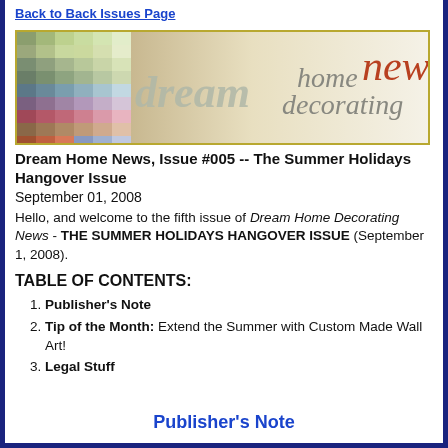Back to Back Issues Page
[Figure (illustration): Dream Home Decorating News banner/logo with colorful paint swatches on the left and styled text reading 'dream home decorating news' on a light background]
Dream Home News, Issue #005 -- The Summer Holidays Hangover Issue
September 01, 2008
Hello, and welcome to the fifth issue of Dream Home Decorating News - THE SUMMER HOLIDAYS HANGOVER ISSUE (September 1, 2008).
TABLE OF CONTENTS:
Publisher's Note
Tip of the Month: Extend the Summer with Custom Made Wall Art!
Legal Stuff
Publisher's Note